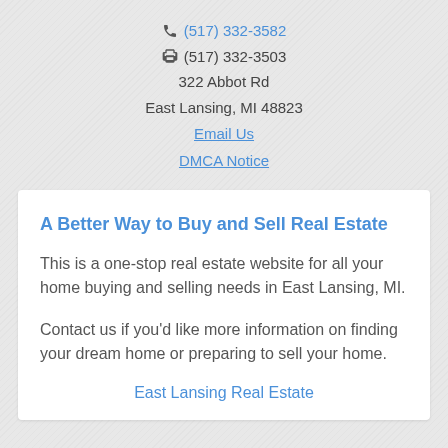(517) 332-3582
(517) 332-3503
322 Abbot Rd
East Lansing, MI 48823
Email Us
DMCA Notice
A Better Way to Buy and Sell Real Estate
This is a one-stop real estate website for all your home buying and selling needs in East Lansing, MI.
Contact us if you'd like more information on finding your dream home or preparing to sell your home.
East Lansing Real Estate